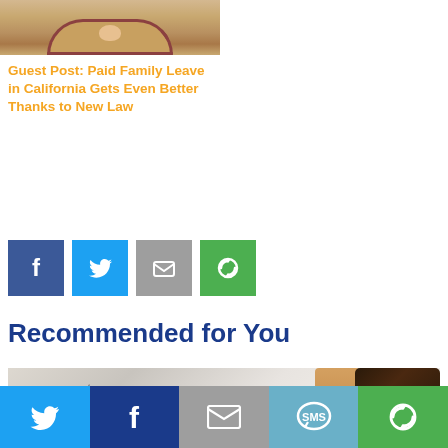[Figure (photo): Small thumbnail image of an article about Paid Family Leave in California, showing a decorative archway with a figure]
Guest Post: Paid Family Leave in California Gets Even Better Thanks to New Law
[Figure (infographic): Row of four social share buttons: Facebook (blue), Twitter (light blue), Email (grey), and a green share/cycle icon]
Recommended for You
[Figure (photo): Photo showing eyeglasses and a gavel resting on a document that reads PAID FAMILY LEAVE, partially visible with the word 'acement.' visible]
[Figure (infographic): Bottom social share bar with five buttons: Twitter (light blue), Facebook (dark blue), Email (grey), SMS (teal), and green share/cycle icon]